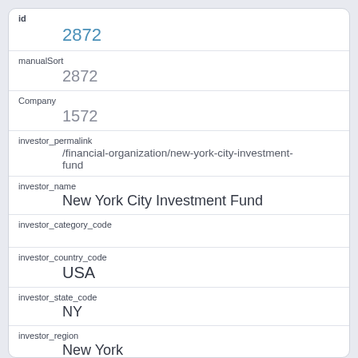id
2872
manualSort
2872
Company
1572
investor_permalink
/financial-organization/new-york-city-investment-fund
investor_name
New York City Investment Fund
investor_category_code
investor_country_code
USA
investor_state_code
NY
investor_region
New York
investor_city